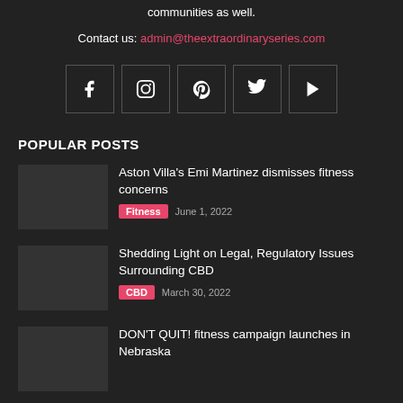communities as well.
Contact us: admin@theextraordinaryseries.com
[Figure (infographic): Row of 5 social media icon boxes: Facebook (f), Instagram, Pinterest (p), Twitter (bird), YouTube (play button)]
POPULAR POSTS
Aston Villa's Emi Martinez dismisses fitness concerns
Fitness  June 1, 2022
Shedding Light on Legal, Regulatory Issues Surrounding CBD
CBD  March 30, 2022
DON'T QUIT! fitness campaign launches in Nebraska